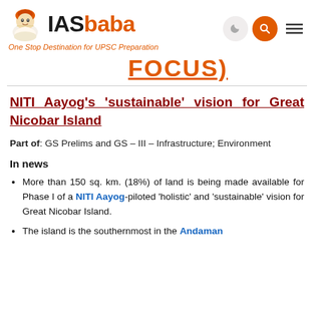IASbaba — One Stop Destination for UPSC Preparation
FOCUS)
NITI Aayog's 'sustainable' vision for Great Nicobar Island
Part of: GS Prelims and GS – III – Infrastructure; Environment
In news
More than 150 sq. km. (18%) of land is being made available for Phase I of a NITI Aayog-piloted 'holistic' and 'sustainable' vision for Great Nicobar Island.
The island is the southernmost in the Andaman